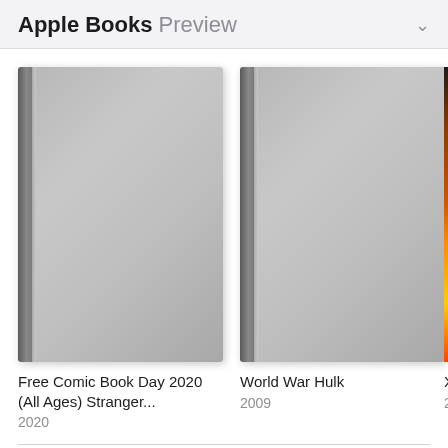Apple Books Preview
[Figure (illustration): Book cover thumbnail for 'Free Comic Book Day 2020 (All Ages) Stranger...' - plain gray cover with spine effect]
Free Comic Book Day 2020 (All Ages) Stranger...
2020
[Figure (illustration): Book cover thumbnail for 'World War Hulk' (2009) - plain gray cover with spine effect]
World War Hulk
2009
[Figure (illustration): Partial book cover for 'X-M...' (201...) - fire/flame themed cover, partially visible]
X-M
201
Customers Also Browse...